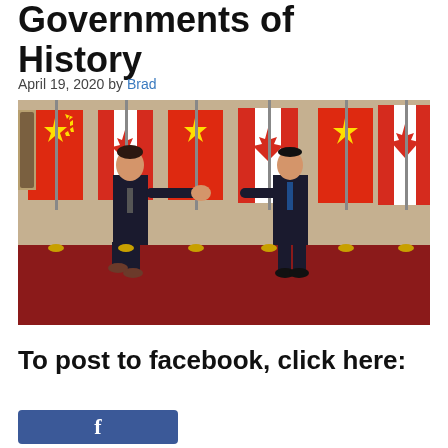Governments of History
April 19, 2020 by Brad
[Figure (photo): Two men in suits shaking hands in front of alternating Canadian and Chinese flags on a red carpet. The man on the left is stepping forward to shake hands with the man on the right.]
To post to facebook, click here:
[Figure (other): Blue Facebook share button]